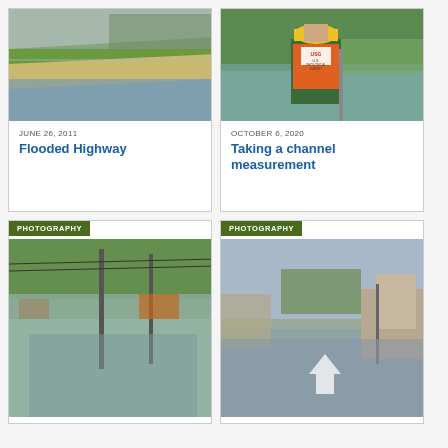[Figure (photo): Flooded highway with water covering the road and green grass/vegetation visible along the edge, overcast sky]
JUNE 26, 2011
Flooded Highway
[Figure (photo): USGS worker wearing orange life vest and yellow hard hat standing in a river channel, other workers visible in background]
OCTOBER 6, 2020
Taking a channel measurement
PHOTOGRAPHY
[Figure (photo): Flooded street with water covering road, street lights and power lines visible, trees in background]
PHOTOGRAPHY
[Figure (photo): Flooded town street with water on road, buildings visible on right, overcast sky, upward arrow icon overlay]